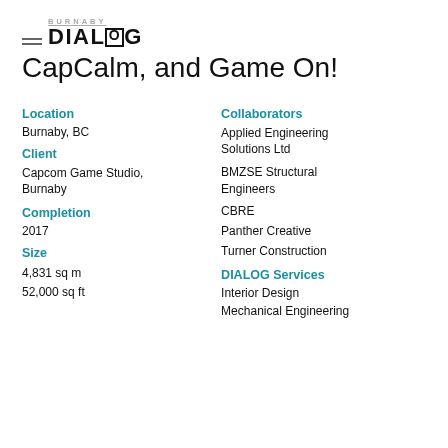BURNABY DIALOG
CapCalm, and Game On!
Location
Burnaby, BC
Client
Capcom Game Studio, Burnaby
Completion
2017
Size
4,831 sq m
52,000 sq ft
Collaborators
Applied Engineering Solutions Ltd
BMZSE Structural Engineers
CBRE
Panther Creative
Turner Construction
DIALOG Services
Interior Design
Mechanical Engineering